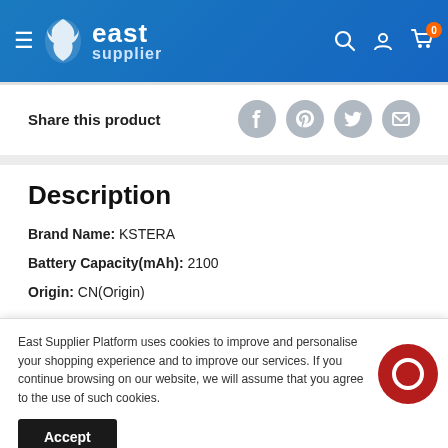[Figure (logo): East Supplier website header with logo (dragon icon and text 'east supplier'), hamburger menu icon, search icon, account icon, and shopping cart icon with badge '0']
Share this product
[Figure (infographic): Social sharing icons: Facebook, Pinterest, Twitter, Email (all circular gray icons)]
Description
Brand Name: KSTERA
Battery Capacity(mAh): 2100
Origin: CN(Origin)
East Supplier Platform uses cookies to improve and personalise your shopping experience and to improve our services. If you continue browsing on our website, we will assume that you agree to the use of such cookies.
Accept
Output Power(w): 10w-25w